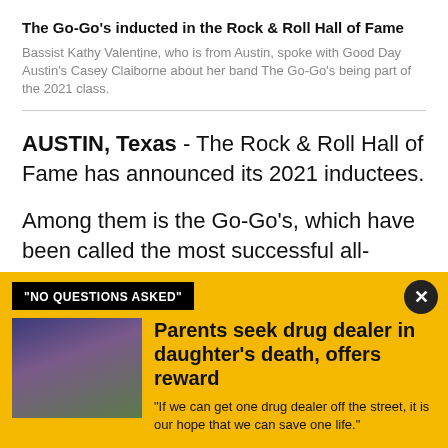The Go-Go's inducted in the Rock & Roll Hall of Fame
Bassist Kathy Valentine, who is from Austin, spoke with Good Day Austin's Casey Claiborne about her band The Go-Go's being part of the 2021 class.
AUSTIN, Texas - The Rock & Roll Hall of Fame has announced its 2021 inductees.
Among them is the Go-Go's, which have been called the most successful all-women rock band of all time. They
"NO QUESTIONS ASKED"
Parents seek drug dealer in daughter's death, offers reward
"If we can get one drug dealer off the street, it is our hope that we can save one life."